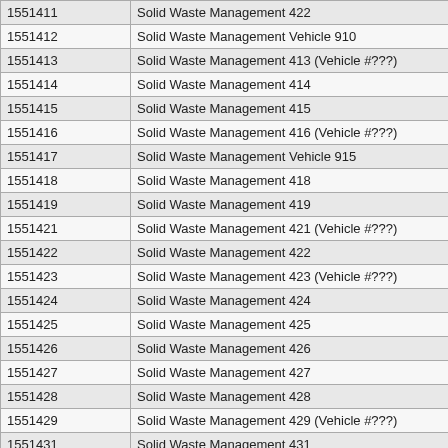| 1551411 | Solid Waste Management 422 |
| 1551412 | Solid Waste Management Vehicle 910 |
| 1551413 | Solid Waste Management 413 (Vehicle #???) |
| 1551414 | Solid Waste Management 414 |
| 1551415 | Solid Waste Management 415 |
| 1551416 | Solid Waste Management 416 (Vehicle #???) |
| 1551417 | Solid Waste Management Vehicle 915 |
| 1551418 | Solid Waste Management 418 |
| 1551419 | Solid Waste Management 419 |
| 1551421 | Solid Waste Management 421 (Vehicle #???) |
| 1551422 | Solid Waste Management 422 |
| 1551423 | Solid Waste Management 423 (Vehicle #???) |
| 1551424 | Solid Waste Management 424 |
| 1551425 | Solid Waste Management 425 |
| 1551426 | Solid Waste Management 426 |
| 1551427 | Solid Waste Management 427 |
| 1551428 | Solid Waste Management 428 |
| 1551429 | Solid Waste Management 429 (Vehicle #???) |
| 1551431 | Solid Waste Management 431 |
| 1551432 | Solid Waste Management 432 |
| 1551433 | Solid Waste Management 433 |
| 1551434 | Solid Waste Management 434 |
| 1151435 | Solid Waste Management 435 |
| 1551436 | Solid Waste Management 436 |
| 1551437 | Solid Waste Management 437 |